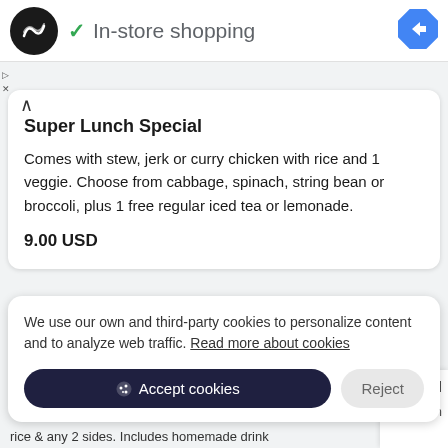[Figure (logo): Black circle logo with two overlapping S-shaped arrows in white]
✓ In-store shopping
[Figure (illustration): Blue diamond navigation/directions icon with white arrow]
▷
X
Super Lunch Special
Comes with stew, jerk or curry chicken with rice and 1 veggie. Choose from cabbage, spinach, string bean or broccoli, plus 1 free regular iced tea or lemonade.
9.00 USD
We use our own and third-party cookies to personalize content and to analyze web traffic. Read more about cookies
Accept cookies
Reject
ial
th
rice & any 2 sides. Includes homemade drink